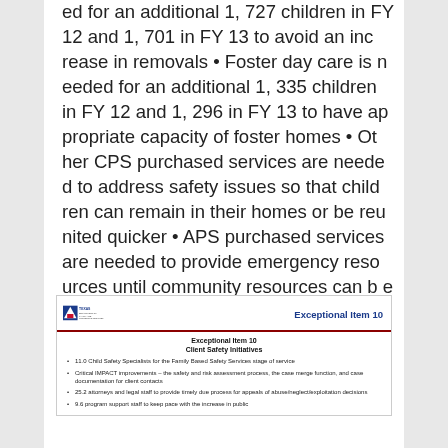ed for an additional 1, 727 children in FY 12 and 1, 701 in FY 13 to avoid an increase in removals • Foster day care is needed for an additional 1, 335 children in FY 12 and 1, 296 in FY 13 to have appropriate capacity of foster homes • Other CPS purchased services are needed to address safety issues so that children can remain in their homes or be reunited quicker • APS purchased services are needed to provide emergency resources until community resources can be accessed • $13. 4 million GR, $15. 6 million All Funds 10
[Figure (screenshot): Slide thumbnail showing Texas DFPS logo header with 'Exceptional Item 10' label and a slide titled 'Exceptional Item 10 / Client Safety Initiatives' with bullet points listing: 11.0 Child Safety Specialists for the Family Based Safety Services stage of service; Critical IMPACT improvements – the safety and risk assessment process, the case merge function, and case documentation for client contacts; 25.2 attorneys and legal staff to provide timely due process for appeals of abuse/neglect/exploitation decisions; 9.6 program support staff to keep pace with the increase in public.]